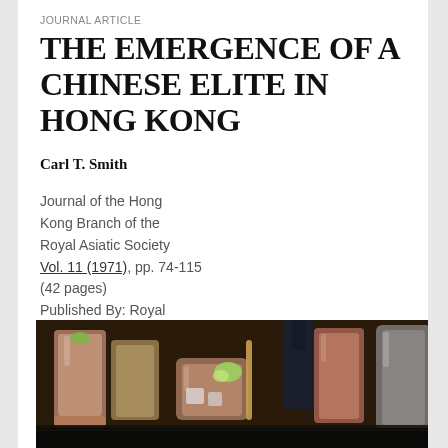JOURNAL ARTICLE
THE EMERGENCE OF A CHINESE ELITE IN HONG KONG
Carl T. Smith
Journal of the Hong Kong Branch of the Royal Asiatic Society Vol. 11 (1971), pp. 74-115 (42 pages) Published By: Royal
[Figure (photo): Photograph of cocktail drinks in glasses with ice and lime garnishes on a bar surface, with bottles in the background]